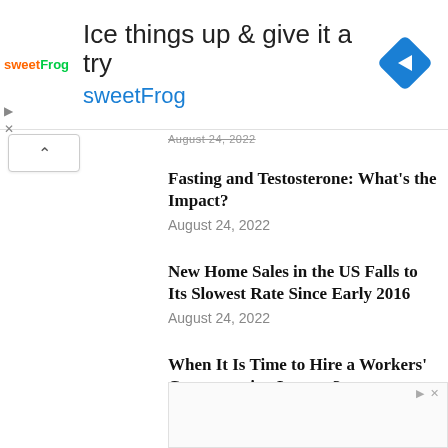[Figure (screenshot): SweetFrog advertisement banner with logo, headline 'Ice things up & give it a try', brand name 'sweetFrog', and a blue diamond navigation icon]
August 24, 2022
Fasting and Testosterone: What's the Impact?
August 24, 2022
New Home Sales in the US Falls to Its Slowest Rate Since Early 2016
August 24, 2022
When It Is Time to Hire a Workers' Compensation Lawyer?
August 24, 2022
[Figure (screenshot): Bottom advertisement area, partially visible]